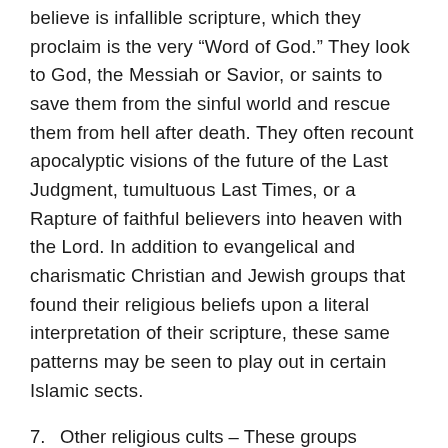believe is infallible scripture, which they proclaim is the very “Word of God.” They look to God, the Messiah or Savior, or saints to save them from the sinful world and rescue them from hell after death. They often recount apocalyptic visions of the future of the Last Judgment, tumultuous Last Times, or a Rapture of faithful believers into heaven with the Lord. In addition to evangelical and charismatic Christian and Jewish groups that found their religious beliefs upon a literal interpretation of their scripture, these same patterns may be seen to play out in certain Islamic sects.
7. Other religious cults – These groups